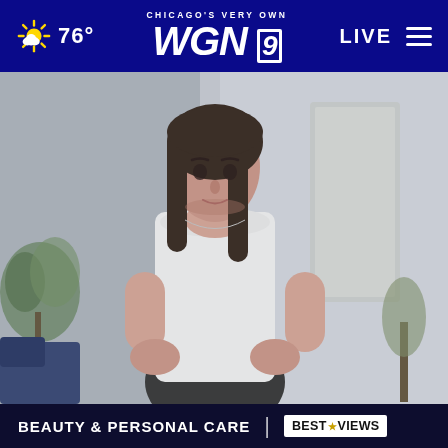76° | CHICAGO'S VERY OWN WGN 9 | LIVE
[Figure (photo): A young woman with long dark hair wearing a white t-shirt looking down at her stomach, holding her midsection with both hands, standing in a bright room with plants and a couch visible in the background.]
BEAUTY & PERSONAL CARE | BESTREVIEWS